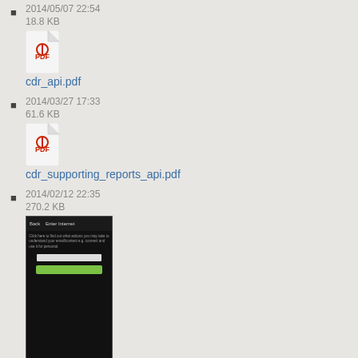cdr_api.pdf
2014/05/07 22:54
18.8 KB
cdr_supporting_reports_api.pdf
2014/03/27 17:33
61.6 KB
cfc_activation1.png
640×1136
2014/04/25 19:43
2014/02/12 22:35
270.2 KB